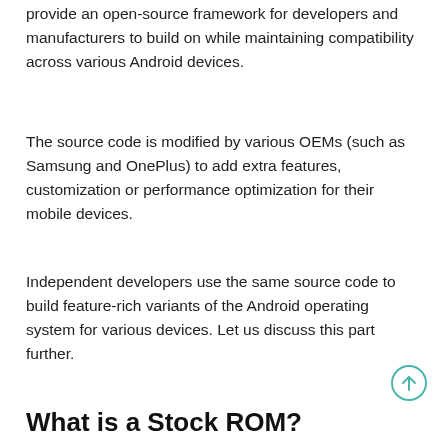provide an open-source framework for developers and manufacturers to build on while maintaining compatibility across various Android devices.
The source code is modified by various OEMs (such as Samsung and OnePlus) to add extra features, customization or performance optimization for their mobile devices.
Independent developers use the same source code to build feature-rich variants of the Android operating system for various devices. Let us discuss this part further.
What is a Stock ROM?